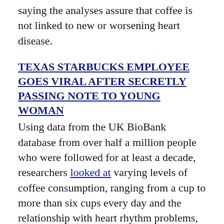saying the analyses assure that coffee is not linked to new or worsening heart disease.
TEXAS STARBUCKS EMPLOYEE GOES VIRAL AFTER SECRETLY PASSING NOTE TO YOUNG WOMAN
Using data from the UK BioBank database from over half a million people who were followed for at least a decade, researchers looked at varying levels of coffee consumption, ranging from a cup to more than six cups every day and the relationship with heart rhythm problems, cardiovascular disease, stroke and total heart-related deaths among those with and without cardiovascular disease.
The patients were sorted according to how much coffee they reported drinking every day from zero to more than five.